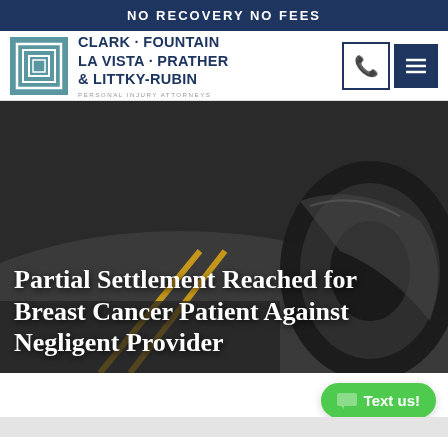NO RECOVERY NO FEES
[Figure (logo): Clark Fountain La Vista Prather & Littky-Rubin law firm logo with stylized CF monogram in a teal square]
CLARK · FOUNTAIN LA VISTA · PRATHER & LITTKY-RUBIN PERSONAL INJURY ATTORNEYS
[Figure (photo): Background photo of a road with yellow lines and a vehicle tire/wheel, dark and moody]
Partial Settlement Reached for Breast Cancer Patient Against Negligent Provider
Text us!